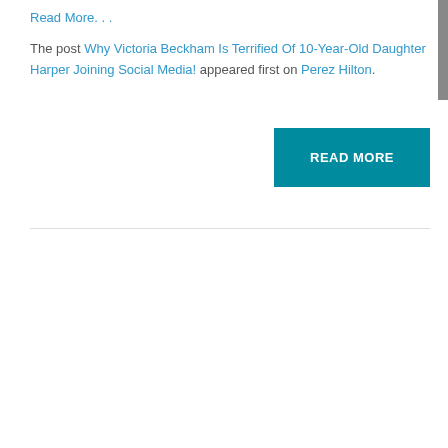Read More...
The post Why Victoria Beckham Is Terrified Of 10-Year-Old Daughter Harper Joining Social Media! appeared first on Perez Hilton.
READ MORE